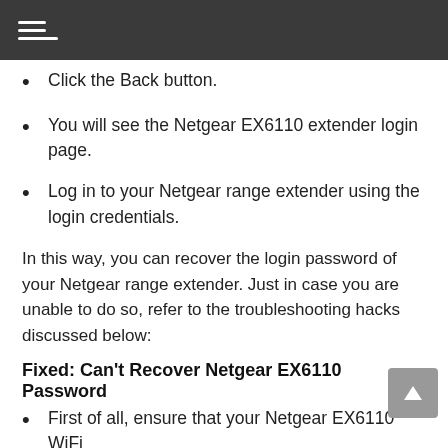Click the Back button.
You will see the Netgear EX6110 extender login page.
Log in to your Netgear range extender using the login credentials.
In this way, you can recover the login password of your Netgear range extender. Just in case you are unable to do so, refer to the troubleshooting hacks discussed below:
Fixed: Can't Recover Netgear EX6110 Password
First of all, ensure that your Netgear EX6110 WiFi